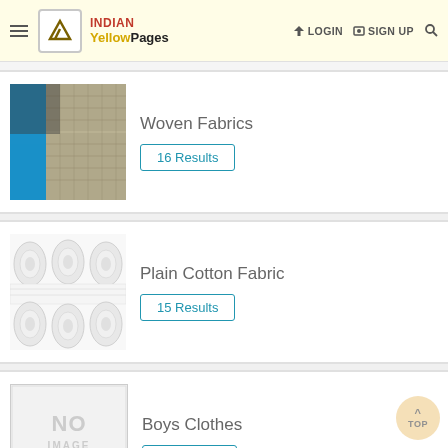INDIAN Yellow Pages — LOGIN | SIGN UP
[Figure (photo): Woven fabrics close-up showing blue and grey textured material]
Woven Fabrics
16 Results
[Figure (photo): Rolled white plain cotton fabric]
Plain Cotton Fabric
15 Results
[Figure (photo): No image available placeholder]
Boys Clothes
15 Results